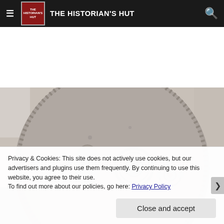THE HISTORIAN'S HUT
[Figure (photo): Close-up photograph of an ancient carved stone disc or roundel with decorative relief carvings including circular and floral motifs on a grey stone surface]
Privacy & Cookies: This site does not actively use cookies, but our advertisers and plugins use them frequently. By continuing to use this website, you agree to their use.
To find out more about our policies, go here: Privacy Policy
Close and accept